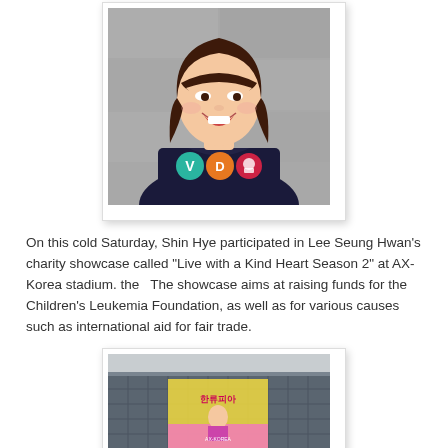[Figure (photo): Young woman with brown bob haircut and bangs, smiling, wearing a dark navy t-shirt with colorful graphic letters/symbols, standing against a stone/concrete wall background.]
On this cold Saturday, Shin Hye participated in Lee Seung Hwan’s charity showcase called “Live with a Kind Heart Season 2” at AX-Korea stadium. the  The showcase aims at raising funds for the Children’s Leukemia Foundation, as well as for various causes such as international aid for fair trade.
[Figure (photo): Exterior of a large modern building (AX-Korea stadium) with a yellow/pink promotional banner/poster displayed on its facade, featuring Korean text and a person's image.]